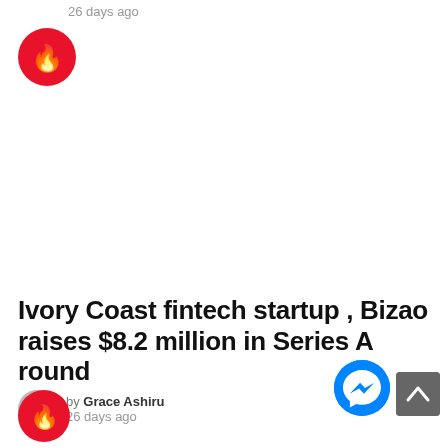26 days ago
[Figure (logo): Red circle with white flame icon (fire/trending icon), top position]
Ivory Coast fintech startup , Bizao raises $8.2 million in Series A round
by Grace Ashiru
26 days ago
[Figure (logo): Red circle with white flame icon (fire/trending icon), bottom position]
[Figure (logo): Blue circle Facebook Messenger icon button]
[Figure (other): Gray scroll-to-top button with upward arrow]